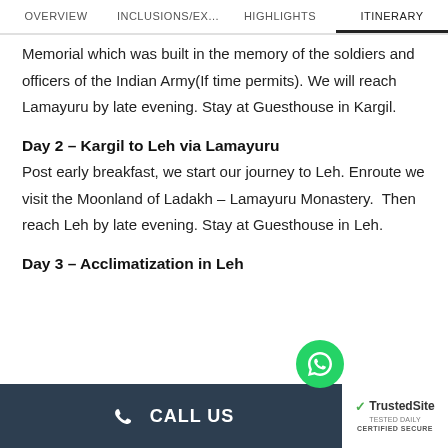OVERVIEW | INCLUSIONS/EX... | HIGHLIGHTS | ITINERARY
Memorial which was built in the memory of the soldiers and officers of the Indian Army(If time permits). We will reach Lamayuru by late evening. Stay at Guesthouse in Kargil.
Day 2 – Kargil to Leh via Lamayuru
Post early breakfast, we start our journey to Leh. Enroute we visit the Moonland of Ladakh – Lamayuru Monastery.  Then reach Leh by late evening. Stay at Guesthouse in Leh.
Day 3 – Acclimatization in Leh
CALL US | TrustedSite CERTIFIED SECURE